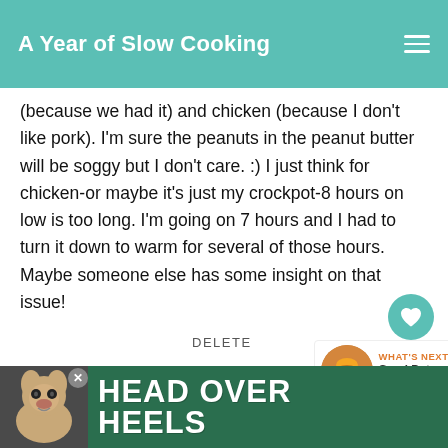A Year of Slow Cooking
(because we had it) and chicken (because I don't like pork). I'm sure the peanuts in the peanut butter will be soggy but I don't care. :) I just think for chicken-or maybe it's just my crockpot-8 hours on low is too long. I'm going on 7 hours and I had to turn it down to warm for several of those hours. Maybe someone else has some insight on that issue!
DELETE
[Figure (infographic): What's Next panel showing CrockPot Hamburger... with a thumbnail image]
UNKNOWN
2/12/2011
[Figure (infographic): Advertisement banner: HEAD OVER HEELS with dog photo, green background, close button X]